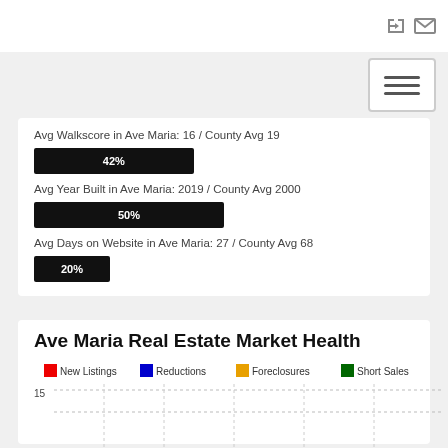Avg Walkscore in Ave Maria: 16 / County Avg 19
[Figure (bar-chart): Walkscore comparison]
Avg Year Built in Ave Maria: 2019 / County Avg 2000
[Figure (bar-chart): Year Built comparison]
Avg Days on Website in Ave Maria: 27 / County Avg 68
[Figure (bar-chart): Days on Website comparison]
Ave Maria Real Estate Market Health
[Figure (grouped-bar-chart): Ave Maria Real Estate Market Health]